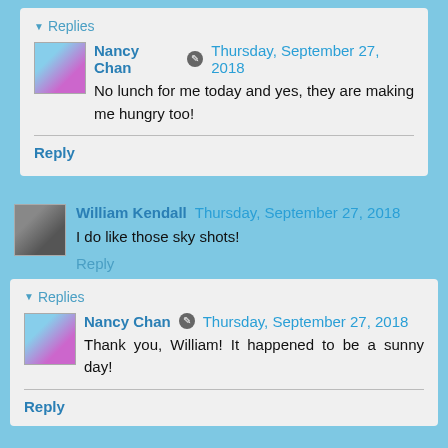▼ Replies
Nancy Chan ✎ Thursday, September 27, 2018
No lunch for me today and yes, they are making me hungry too!
Reply
William Kendall  Thursday, September 27, 2018
I do like those sky shots!
Reply
▼ Replies
Nancy Chan ✎ Thursday, September 27, 2018
Thank you, William! It happened to be a sunny day!
Reply